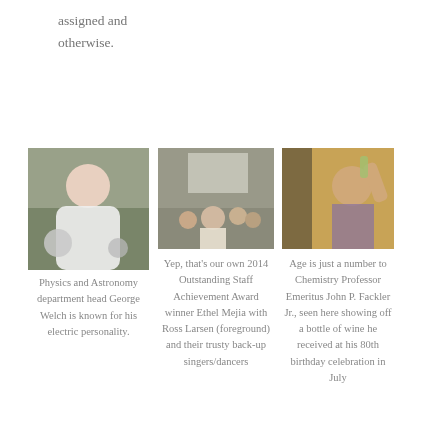assigned and otherwise.
[Figure (photo): Physics and Astronomy department head George Welch holding metallic spheres in front of a chalkboard]
Physics and Astronomy department head George Welch is known for his electric personality.
[Figure (photo): 2014 Outstanding Staff Achievement Award winner Ethel Mejia with Ross Larsen foreground and their trusty back-up singers/dancers in a classroom setting]
Yep, that's our own 2014 Outstanding Staff Achievement Award winner Ethel Mejia with Ross Larsen (foreground) and their trusty back-up singers/dancers
[Figure (photo): Chemistry Professor Emeritus John P. Fackler Jr. showing off a bottle of wine at his 80th birthday celebration]
Age is just a number to Chemistry Professor Emeritus John P. Fackler Jr., seen here showing off a bottle of wine he received at his 80th birthday celebration in July